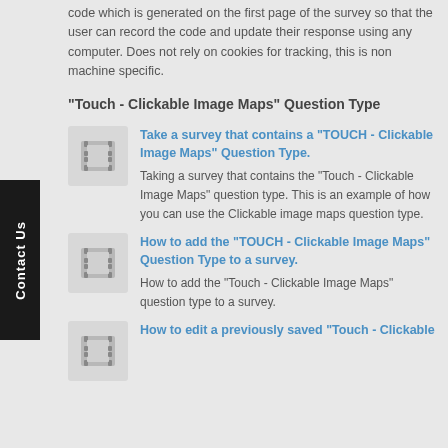code which is generated on the first page of the survey so that the user can record the code and update their response using any computer. Does not rely on cookies for tracking, this is non machine specific.
"Touch - Clickable Image Maps" Question Type
[Figure (illustration): Film strip / video icon thumbnail]
Take a survey that contains a "TOUCH - Clickable Image Maps" Question Type.
Taking a survey that contains the "Touch - Clickable Image Maps" question type. This is an example of how you can use the Clickable image maps question type.
[Figure (illustration): Film strip / video icon thumbnail]
How to add the "TOUCH - Clickable Image Maps" Question Type to a survey.
How to add the "Touch - Clickable Image Maps" question type to a survey.
[Figure (illustration): Film strip / video icon thumbnail]
How to edit a previously saved "Touch - Clickable